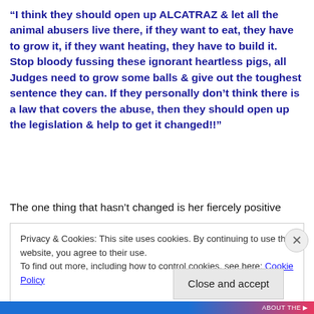“I think they should open up ALCATRAZ & let all the animal abusers live there, if they want to eat, they have to grow it, if they want heating, they have to build it. Stop bloody fussing these ignorant heartless pigs, all Judges need to grow some balls & give out the toughest sentence they can. If they personally don’t think there is a law that covers the abuse, then they should open up the legislation & help to get it changed!!”
The one thing that hasn’t changed is her fiercely positive
Privacy & Cookies: This site uses cookies. By continuing to use this website, you agree to their use.
To find out more, including how to control cookies, see here: Cookie Policy
Close and accept